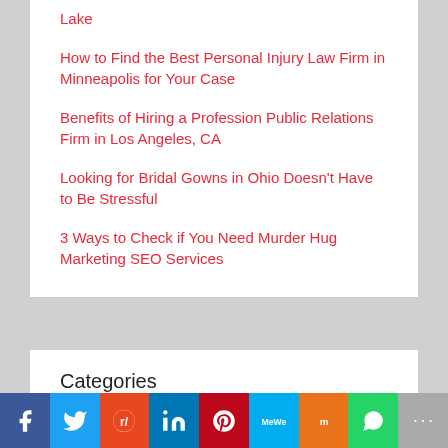Lake
How to Find the Best Personal Injury Law Firm in Minneapolis for Your Case
Benefits of Hiring a Profession Public Relations Firm in Los Angeles, CA
Looking for Bridal Gowns in Ohio Doesn't Have to Be Stressful
3 Ways to Check if You Need Murder Hug Marketing SEO Services
Categories
Select Category
[Figure (other): Social media sharing bar with icons for Facebook, Twitter, Reddit, LinkedIn, Pinterest, MeWe, Mix, WhatsApp, and More]